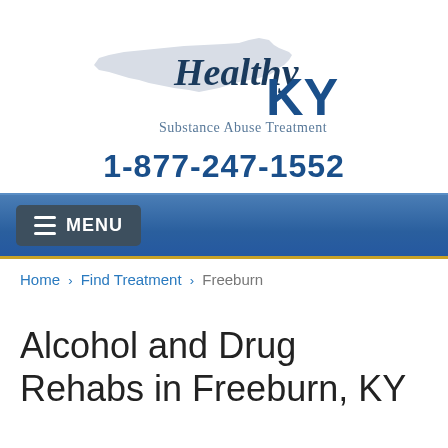[Figure (logo): Healthy KY Substance Abuse Treatment logo with Kentucky state outline in light gray, text 'Healthy KY' in dark blue italic/bold, and 'Substance Abuse Treatment' in gray below]
1-877-247-1552
MENU
Home › Find Treatment › Freeburn
Alcohol and Drug Rehabs in Freeburn, KY